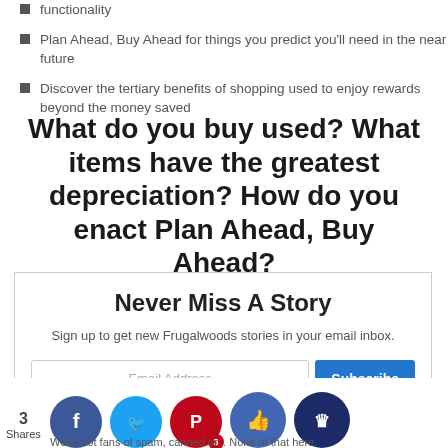functionality
Plan Ahead, Buy Ahead for things you predict you'll need in the near future
Discover the tertiary benefits of shopping used to enjoy rewards beyond the money saved
What do you buy used? What items have the greatest depreciation? How do you enact Plan Ahead, Buy Ahead?
Never Miss A Story
Sign up to get new Frugalwoods stories in your email inbox.
Email Address
Subscribe
3 Shares
We're not fans of spam, canned or... None of that here.